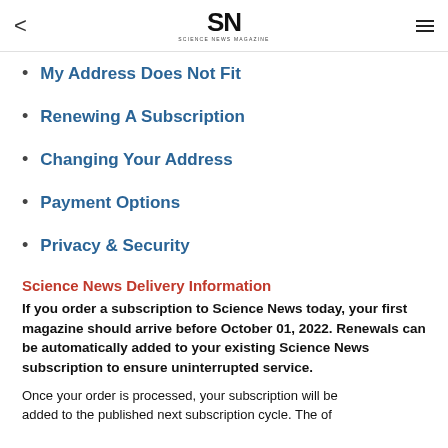SN SCIENCE NEWS MAGAZINE
My Address Does Not Fit
Renewing A Subscription
Changing Your Address
Payment Options
Privacy & Security
Science News Delivery Information
If you order a subscription to Science News today, your first magazine should arrive before October 01, 2022. Renewals can be automatically added to your existing Science News subscription to ensure uninterrupted service.
Once your order is processed, your subscription will be added to the published next subscription cycle. The of